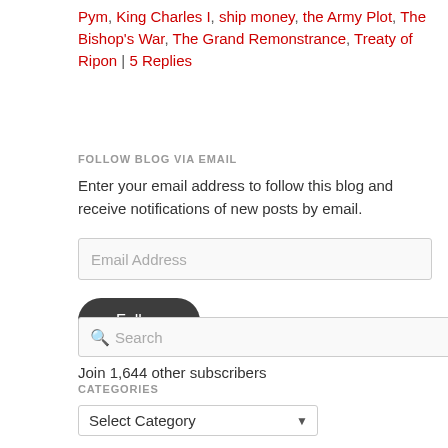Pym, King Charles I, ship money, the Army Plot, The Bishop's War, The Grand Remonstrance, Treaty of Ripon | 5 Replies
FOLLOW BLOG VIA EMAIL
Enter your email address to follow this blog and receive notifications of new posts by email.
Join 1,644 other subscribers
CATEGORIES